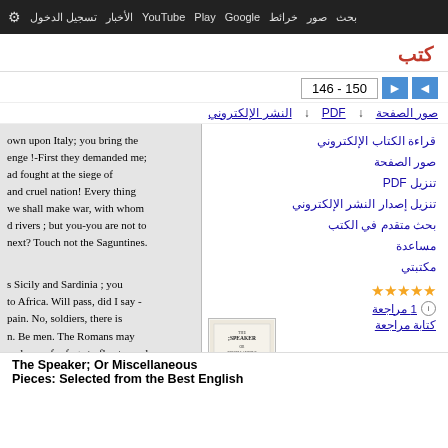بحث صور خرائط Google Play YouTube الأخبار تسجيل الدخول الإعدادات
كتب
146 - 150
صور الصفحة ↓ PDF ↓ النشر الإلكتروني
own upon Italy; you bring the enge !-First they demanded me; ad fought at the siege of and cruel nation! Every thing we shall make war, with whom d rivers ; but you-you are not to next? Touch not the Saguntines.

s Sicily and Sardinia ; you to Africa. Will pass, did I say - pain. No, soldiers, there is n. Be men. The Romans may e places of refuge to flee to, and ortune between death and victo. onquerors
قراءة الكتاب الإلكتروني
صور الصفحة
تنزيل PDF
تنزيل إصدار النشر الإلكتروني
بحث متقدم في الكتب
مساعدة
مكتبتي
1 مراجعة
كتابة مراجعة
The Speaker; Or Miscellaneous Pieces: Selected from the Best English
[Figure (illustration): Thumbnail of book cover for The Speaker; Or Miscellaneous Pieces]